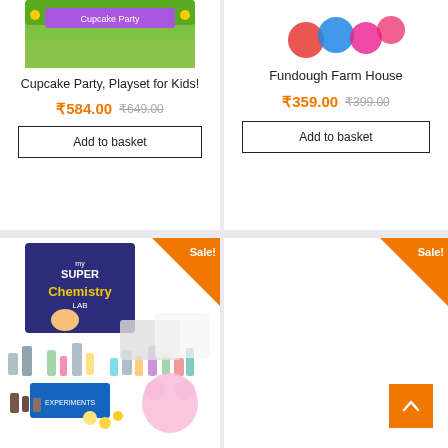[Figure (photo): Cupcake Party Playset product box image (top cropped)]
Cupcake Party, Playset for Kids!
₹584.00 ₹649.00
Add to basket
[Figure (photo): Fundough Farm House product image (top cropped)]
Fundough Farm House
₹359.00 ₹399.00
Add to basket
[Figure (photo): My Super Chemistry Lab kit product photo showing bottles, vials, lab equipment spread out with product box]
[Figure (photo): Product image area (Sale badge visible, image not loaded)]